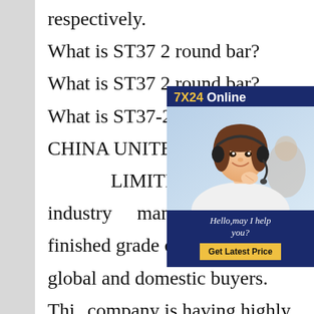respectively.

What is ST37 2 round bar?What is ST37 2 round bar?What is ST37-2 Round Bar? CHINA UNITED IRON AND LIMITED is a certified industry manufacturing finished grade of global and domestic buyers. This company is having highly elaborate as well as sophisticated producing infrastructure in order to manufacture the round bar.ST37-2 Round Bar What are steel flats?What are steel flats?Steel Flat Bar. Hot Rolled Steel Flat, is widely used
[Figure (photo): Customer service representative wearing a headset, smiling. Overlay shows '7X24 Online' header, 'Hello,may I help you?' message, and 'Get Latest Price' button on dark blue background.]